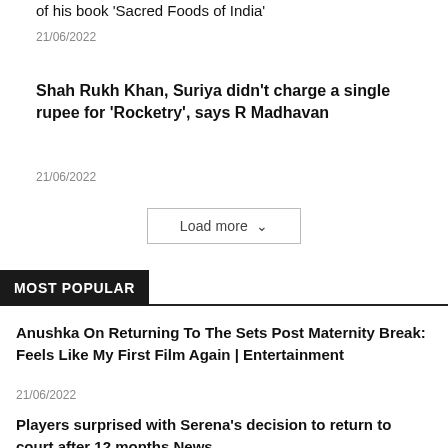of his book ‘Sacred Foods of India’
21/06/2022
Shah Rukh Khan, Suriya didn’t charge a single rupee for ‘Rocketry’, says R Madhavan
21/06/2022
Load more
MOST POPULAR
Anushka On Returning To The Sets Post Maternity Break: Feels Like My First Film Again | Entertainment
21/06/2022
Players surprised with Serena’s decision to return to court after 12 months News